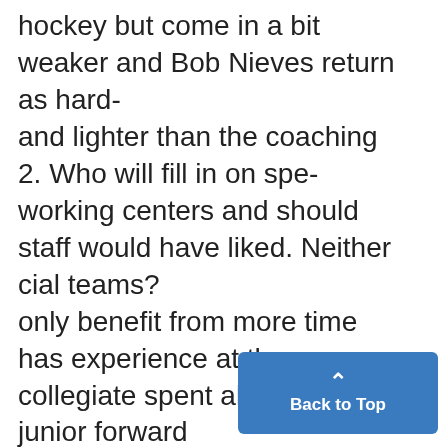hockey but come in a bit weaker and Bob Nieves return as hard- and lighter than the coaching 2. Who will fill in on spe- working centers and should staff would have liked. Neither cial teams? only benefit from more time has experience at the collegiate spent alongside junior forward level, but former defenseman The only unit that possibly Alex Guptill and senior forward Jacob Trouba is proof that it lost more experience than the Derek DeBlois. doesn't take long to adjust. det special teams. But can Copp an
[Figure (other): Blue 'Back to Top' button with an upward arrow icon in the bottom right corner of the page.]